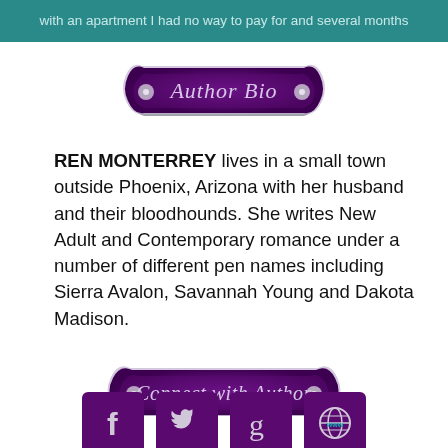with an apartment I had no way to pay for and several months of utility bills that were past due.
[Figure (illustration): Decorative purple banner badge with scroll ends and metal studs, containing italic script text 'Author Bio']
REN MONTERREY lives in a small town outside Phoenix, Arizona with her husband and their bloodhounds. She writes New Adult and Contemporary romance under a number of different pen names including Sierra Avalon, Savannah Young and Dakota Madison.
[Figure (illustration): Decorative purple banner badge with scroll ends and metal studs, containing italic script text 'Connect with Author']
[Figure (illustration): Four social media icon buttons (Facebook, Twitter, Goodreads, Website/www) on purple square backgrounds]